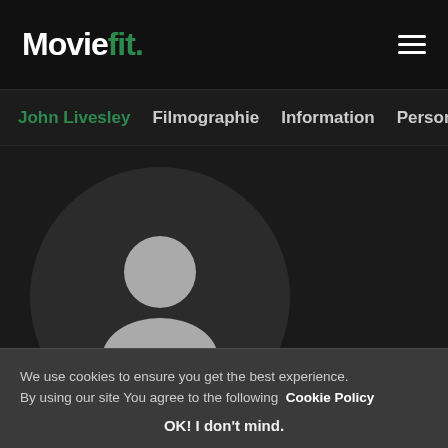Moviefit.
John Livesley  Filmographie  Information  Personn…
[Figure (illustration): Default user avatar placeholder inside a dark circular background. Grey silhouette of a person (head and shoulders) centered on a dark circle.]
We use cookies to ensure you get the best experience. By using our site You agree to the following Cookie Policy
OK! I don't mind.